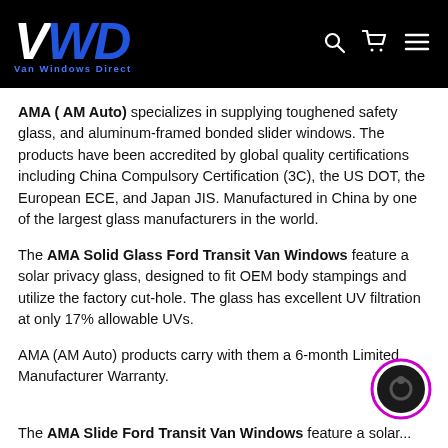Van Windows Direct
AMA ( AM Auto) specializes in supplying toughened safety glass, and aluminum-framed bonded slider windows. The products have been accredited by global quality certifications including China Compulsory Certification (3C), the US DOT, the European ECE, and Japan JIS. Manufactured in China by one of the largest glass manufacturers in the world.
The AMA Solid Glass Ford Transit Van Windows feature a solar privacy glass, designed to fit OEM body stampings and utilize the factory cut-hole. The glass has excellent UV filtration at only 17% allowable UVs.
AMA (AM Auto) products carry with them a 6-month Limited Manufacturer Warranty.
[Figure (other): Purple-circled chat support button icon in bottom right corner]
The AMA Slide Ford Transit Van Windows feature a solar...